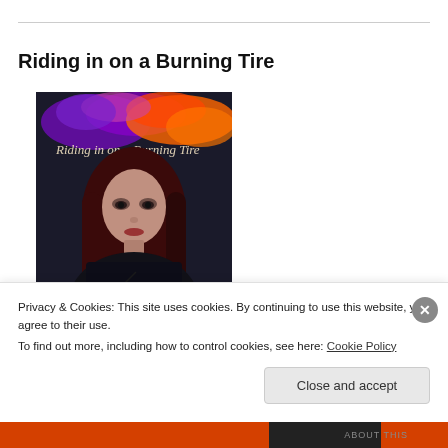Riding in on a Burning Tire
[Figure (illustration): Book cover for 'Riding in on a Burning Tire' featuring a woman with long dark hair against a dark background with colorful flame-like abstract shapes at the top in purple, orange, and red. The title text appears in stylized lettering across the top of the image.]
Privacy & Cookies: This site uses cookies. By continuing to use this website, you agree to their use.
To find out more, including how to control cookies, see here: Cookie Policy
Close and accept